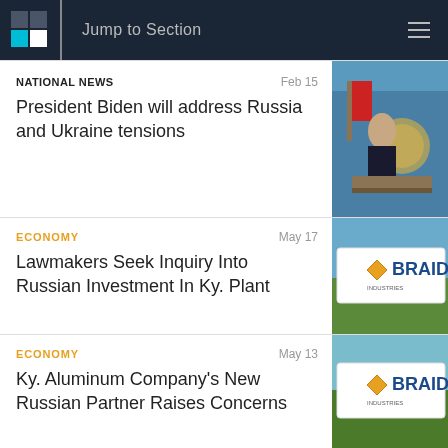Jump to Section
NATIONAL NEWS  Feb 15  President Biden will address Russia and Ukraine tensions
ECONOMY  May 17  Lawmakers Seek Inquiry Into Russian Investment In Ky. Plant
ECONOMY  May 13  Ky. Aluminum Company's New Russian Partner Raises Concerns